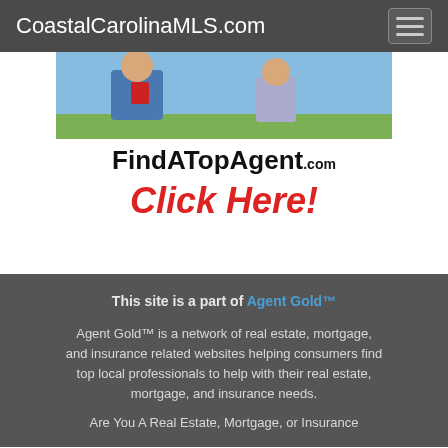CoastalCarolinaMLS.com
[Figure (photo): Outdoor photo showing people, likely real estate agents, in casual/professional attire outdoors with green grass background]
FindATopAgent.com
Click Here!
This site is a part of Agent Gold™
Agent Gold™ is a network of real estate, mortgage, and insurance related websites helping consumers find top local professionals to help with their real estate, mortgage, and insurance needs.
Are You A Real Estate, Mortgage, or Insurance